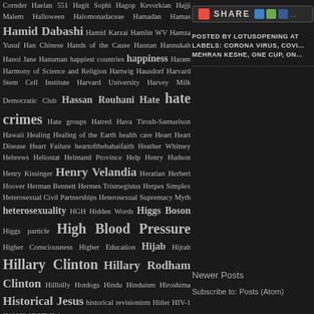Cornder Haelan 551 Hagit Sophi Hagop Kevorkian Hajji Malem Halloween Halomonadaceae Hamadan Hamas Hamid Dabashi Hamid Karzai Hamlin WV Hamza Yusuf Han Chinese Hands of the Cause Hannan Hannukah Hanoi Jane Hanuman happiest countries happiness Haram Harmony of Science and Religion Hartwig Hausdorf Harvard Stem Cell Institute Harvard University Harvey Milk Democratic Club Hassan Rouhani Hate hate crimes Hate groups Hatred Hava Tirosh-Samuelson Hawaii Healing Healing of the Earth health care Heart Heart Disease Heart Failure heartofthebahaifaith Heather Whitney Hebrews Heliostat Helmand Province Help Henry Hudson Henry Kissinger Henry Velandia Heratian Herbert Hoover Herman Bennett Hermes Trismegistus Herpes Simplex Heterosexual Civil Partnerships Heterosexual Supremacy Myth heterosexuality HGH Hidden Words Higgs Boson Higgs particle High Blood Pressure Higher Consciousness Higher Education Hijab Hijrah Hillary Clinton Hillary Rodham Clinton Hillbilly Hotdogs Hindu Hinduism Hiroshima Historical Jesus historical revisionism Hitler HIV-1 H19093 HMJE Holocaust
POSTED BY LOTUSOPENING AT
LABELS: CORONA VIRUS, COVI... MEHRAN KESHE, ONE CUP, ON...
Newer Posts
Subscribe to: Posts (Atom)